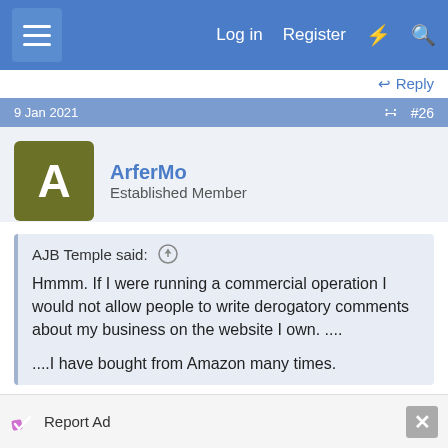Log in  Register
Reply
9 Jan 2021  #26
ArferMo
Established Member
AJB Temple said: ↑
Hmmm. If I were running a commercial operation I would not allow people to write derogatory comments about my business on the website I own. ....

....I have bought from Amazon many times.
Their own website is for them to do as they wish. And we can agree.
Report Ad